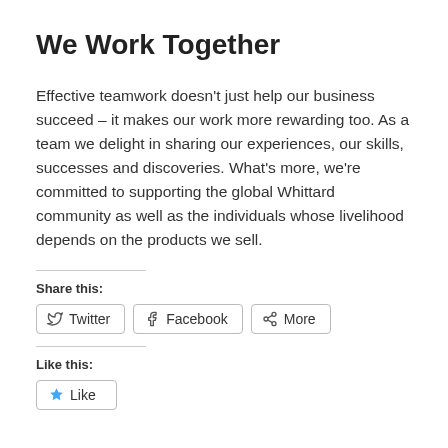We Work Together
Effective teamwork doesn’t just help our business succeed – it makes our work more rewarding too. As a team we delight in sharing our experiences, our skills, successes and discoveries. What’s more, we’re committed to supporting the global Whittard community as well as the individuals whose livelihood depends on the products we sell.
Share this:
Twitter | Facebook | More
Like this:
Like